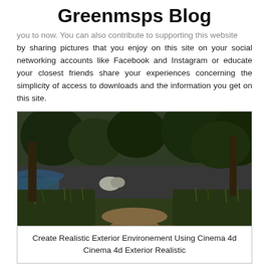Greenmsps Blog
you to now. You can also contribute to supporting this website by sharing pictures that you enjoy on this site on your social networking accounts like Facebook and Instagram or educate your closest friends share your experiences concerning the simplicity of access to downloads and the information you get on this site.
[Figure (photo): A rendered 3D exterior environment scene showing a dirt path through lush green grass and trees beside a blue body of water, with rocks visible. Cinema 4D style realistic exterior rendering.]
Create Realistic Exterior Environement Using Cinema 4d Cinema 4d Exterior Realistic